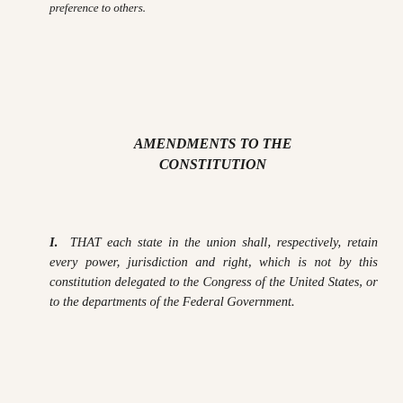preference to others.
AMENDMENTS TO THE CONSTITUTION
I. THAT each state in the union shall, respectively, retain every power, jurisdiction and right, which is not by this constitution delegated to the Congress of the United States, or to the departments of the Federal Government.